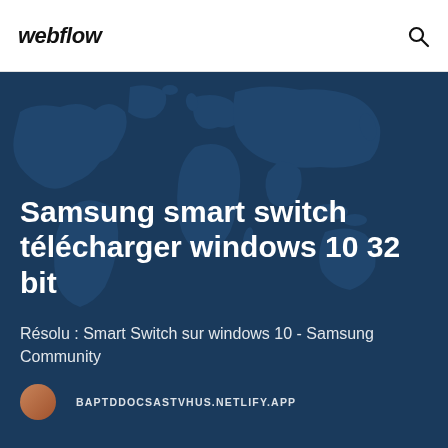webflow
[Figure (illustration): World map background illustration on a dark navy blue background]
Samsung smart switch télécharger windows 10 32 bit
Résolu : Smart Switch sur windows 10 - Samsung Community
BAPTDDOCSASTVHUS.NETLIFY.APP